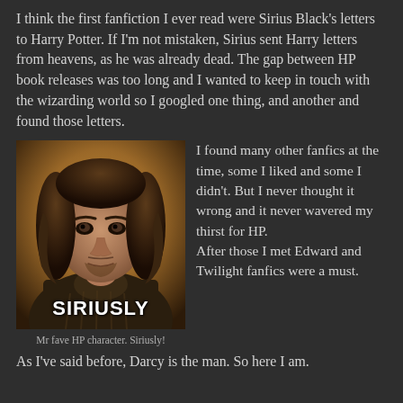I think the first fanfiction I ever read were Sirius Black's letters to Harry Potter. If I'm not mistaken, Sirius sent Harry letters from heavens, as he was already dead. The gap between HP book releases was too long and I wanted to keep in touch with the wizarding world so I googled one thing, and another and found those letters.
[Figure (photo): Photo of Sirius Black (Gary Oldman) from Harry Potter with the bold caption 'SIRIUSLY' at the bottom]
Mr fave HP character. Siriusly!
I found many other fanfics at the time, some I liked and some I didn't. But I never thought it wrong and it never wavered my thirst for HP. After those I met Edward and Twilight fanfics were a must. As I've said before, Darcy is the man. So here I am.